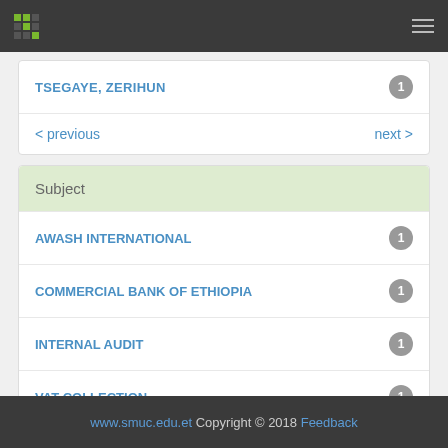Navigation bar with logo and hamburger menu
TSEGAYE, ZERIHUN  1
< previous   next >
Subject
AWASH INTERNATIONAL  1
COMMERCIAL BANK OF ETHIOPIA  1
INTERNAL AUDIT  1
VAT COLLECTION  1
www.smuc.edu.et  Copyright © 2018  Feedback